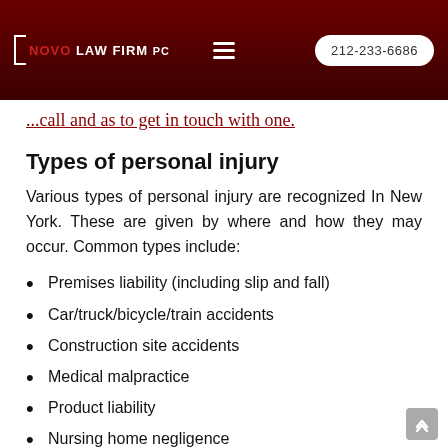NOVO LAW FIRM PC | 212-233-6686
...call and as to get in touch with one.
Types of personal injury
Various types of personal injury are recognized In New York. These are given by where and how they may occur. Common types include:
Premises liability (including slip and fall)
Car/truck/bicycle/train accidents
Construction site accidents
Medical malpractice
Product liability
Nursing home negligence